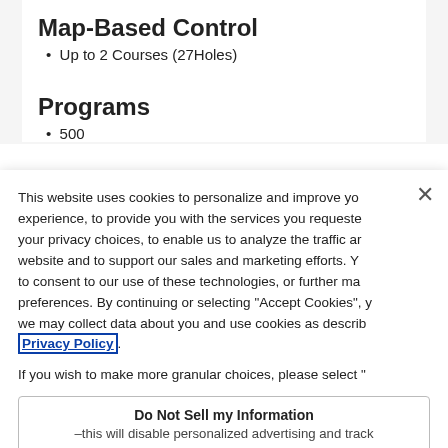Map-Based Control
Up to 2 Courses (27Holes)
Programs
500
This website uses cookies to personalize and improve your experience, to provide you with the services you requested, your privacy choices, to enable us to analyze the traffic and website and to support our sales and marketing efforts. You to consent to our use of these technologies, or further manage preferences. By continuing or selecting "Accept Cookies", we may collect data about you and use cookies as described Privacy Policy.
If you wish to make more granular choices, please select "
Do Not Sell my Information
–this will disable personalized advertising and tracking
Cookie Settings
Accept Cookies